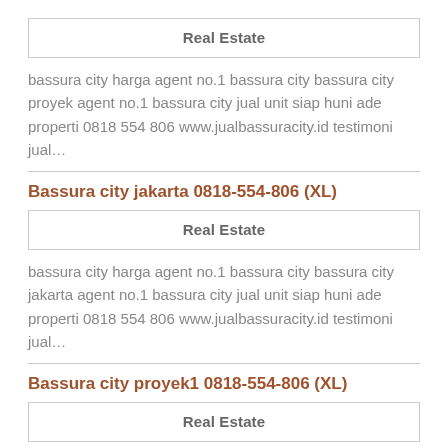| Real Estate |
bassura city harga agent no.1 bassura city bassura city proyek agent no.1 bassura city jual unit siap huni ade properti 0818 554 806 www.jualbassuracity.id testimoni jual…
Bassura city jakarta 0818-554-806 (XL)
| Real Estate |
bassura city harga agent no.1 bassura city bassura city jakarta agent no.1 bassura city jual unit siap huni ade properti 0818 554 806 www.jualbassuracity.id testimoni jual…
Bassura city proyek1 0818-554-806 (XL)
| Real Estate |